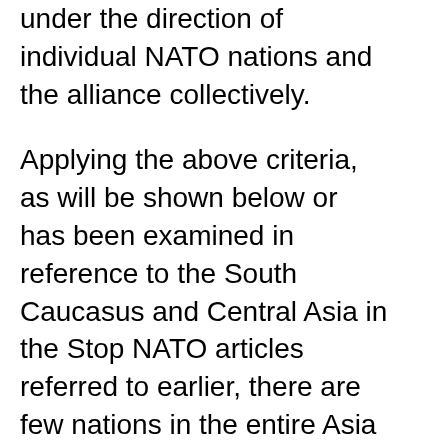under the direction of individual NATO nations and the alliance collectively.
Applying the above criteria, as will be shown below or has been examined in reference to the South Caucasus and Central Asia in the Stop NATO articles referred to earlier, there are few nations in the entire Asia Pacific area, including the South Caucasus and West Asia (the Middle East), that are not to some degree involved in the process of creating a Western-dominated Asian military bloc.
Excluding several smaller island nations in the South Pacific, those exceptions are Russia, China, Laos, Myanmar, North Korea, Bhutan, Iran and Syria.
In addition to collective NATO partnerships partially or entirely outside of Europe and North America – Partnership for Peace includes all three South Caucasus